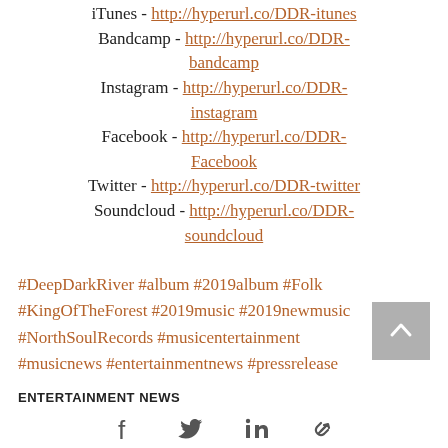iTunes - http://hyperurl.co/DDR-itunes
Bandcamp - http://hyperurl.co/DDR-bandcamp
Instagram - http://hyperurl.co/DDR-instagram
Facebook - http://hyperurl.co/DDR-Facebook
Twitter - http://hyperurl.co/DDR-twitter
Soundcloud - http://hyperurl.co/DDR-soundcloud
#DeepDarkRiver #album #2019album #Folk #KingOfTheForest #2019music #2019newmusic #NorthSoulRecords #musicentertainment #musicnews #entertainmentnews #pressrelease
ENTERTAINMENT NEWS